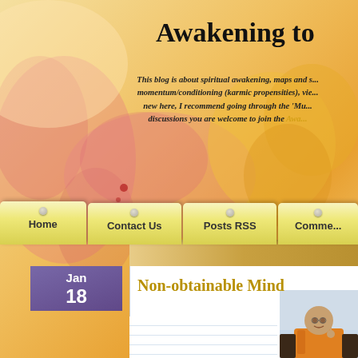[Figure (screenshot): Blog website header with watercolor background (pink, yellow, orange splashes), navigation tabs (Home, Contact Us, Posts RSS, Comments), date badge (Jan 18), post title 'Non-obtainable Mind', and a photo of a Buddhist monk in orange robes.]
Awakening to
This blog is about spiritual awakening, maps and s... momentum/conditioning (karmic propensities), vie... new here, I recommend going through the 'Mu... discussions you are welcome to join the Awa...
Non-obtainable Mind